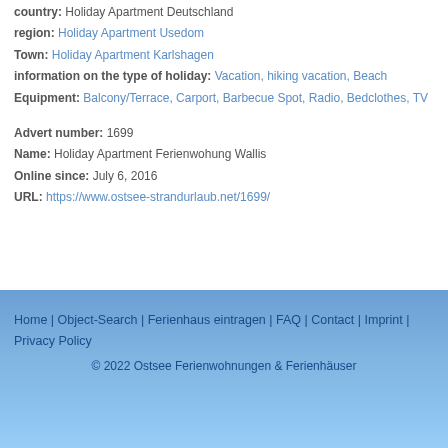country: Holiday Apartment Deutschland
region: Holiday Apartment Usedom
Town: Holiday Apartment Karlshagen
information on the type of holiday: Vacation, hiking vacation, Beach
Equipment: Balcony/Terrace, Carport, Barbecue Spot, Radio, Bedclothes, TV
Advert number: 1699
Name: Holiday Apartment Ferienwohung Wallis
Online since: July 6, 2016
URL: https://www.ostsee-strandurlaub.net/1699/
Home | Object-Search | Ferienhaus eintragen | FAQ | Contact | Imprint | Privacy Policy
© 2022 Ostsee Ferienwohnungen & Ferienhäuser